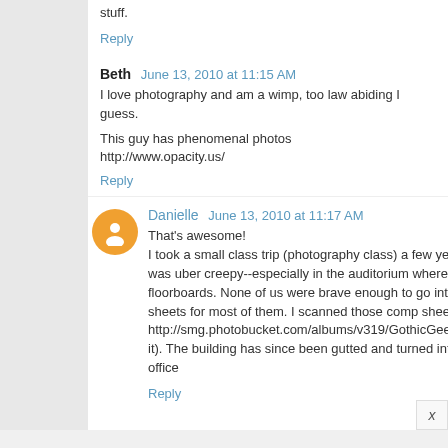stuff.
Reply
Beth  June 13, 2010 at 11:15 AM
I love photography and am a wimp, too law abiding I guess.
This guy has phenomenal photos http://www.opacity.us/
Reply
Danielle  June 13, 2010 at 11:17 AM
That's awesome! I took a small class trip (photography class) a few years ba... was uber creepy--especially in the auditorium where the se... floorboards. None of us were brave enough to go into the ... sheets for most of them. I scanned those comp sheets a... http://smg.photobucket.com/albums/v319/GothicGeek/Artw... it). The building has since been gutted and turned into office...
Reply